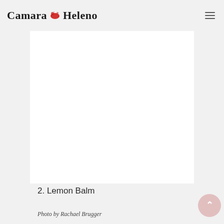Camara Heleno
[Figure (photo): Large white/blank content area representing an image placeholder]
2. Lemon Balm
Photo by Rachael Brugger